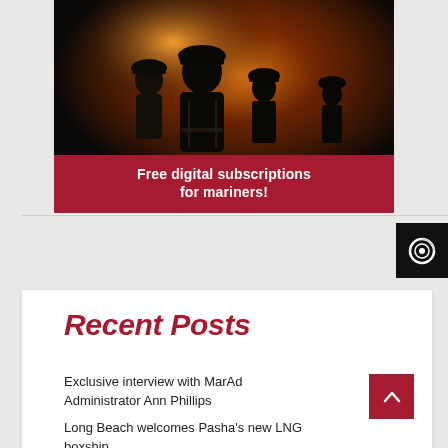[Figure (photo): Dark image of firefighters silhouetted against orange fire/smoke, with a red banner overlay reading 'Free digital subscriptions for mariners!']
Free digital subscriptions for mariners!
Recent Posts
Exclusive interview with MarAd Administrator Ann Phillips
Long Beach welcomes Pasha's new LNG boxship